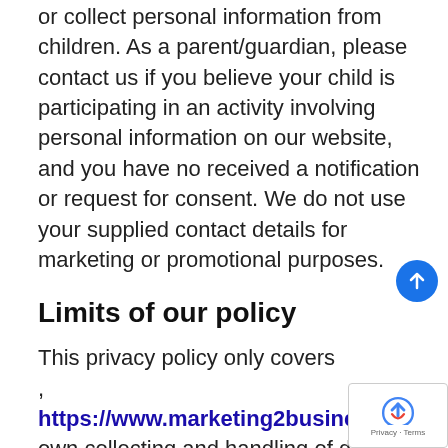or collect personal information from children. As a parent/guardian, please contact us if you believe your child is participating in an activity involving personal information on our website, and you have no received a notification or request for consent. We do not use your supplied contact details for marketing or promotional purposes.
Limits of our policy
This privacy policy only covers , https://www.marketing2business.com/,  own collecting and handling of data. We only work with partners, affiliates and third-party providers whose privacy policies align with ours, however we cannot accept responsibility or liability for their respective privacy practices.
Our website may link to external sites that are